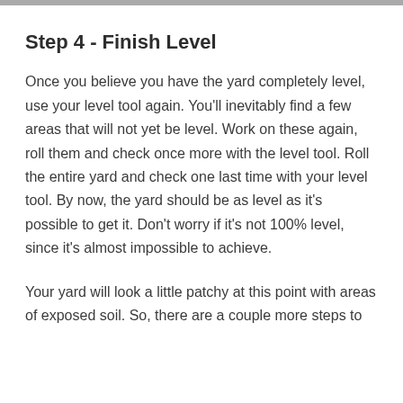Step 4 - Finish Level
Once you believe you have the yard completely level, use your level tool again. You’ll inevitably find a few areas that will not yet be level. Work on these again, roll them and check once more with the level tool. Roll the entire yard and check one last time with your level tool. By now, the yard should be as level as it’s possible to get it. Don’t worry if it’s not 100% level, since it’s almost impossible to achieve.
Your yard will look a little patchy at this point with areas of exposed soil. So, there are a couple more steps to complete.